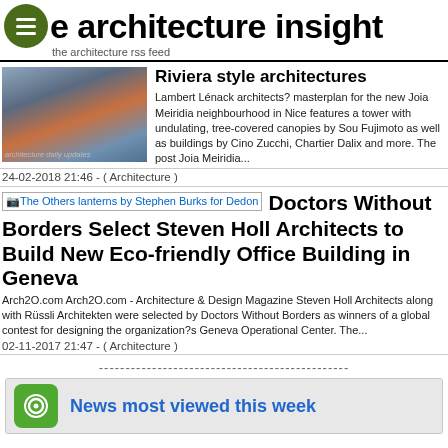the architecture insight — the architecture rss feed
Riviera style architectures
Lambert Lénack architects? masterplan for the new Joia Meiridia neighbourhood in Nice features a tower with undulating, tree-covered canopies by Sou Fujimoto as well as buildings by Cino Zucchi, Chartier Dalix and more. The post Joia Meiridia...
24-02-2018 21:46 - ( Architecture )
[Figure (photo): Architecture photo of building/structure]
Doctors Without Borders Select Steven Holl Architects to Build New Eco-friendly Office Building in Geneva
Arch2O.com Arch2O.com - Architecture & Design Magazine Steven Holl Architects along with Rüssli Architekten were selected by Doctors Without Borders as winners of a global contest for designing the organization?s Geneva Operational Center. The...
02-11-2017 21:47 - ( Architecture )
News most viewed this week
Shares